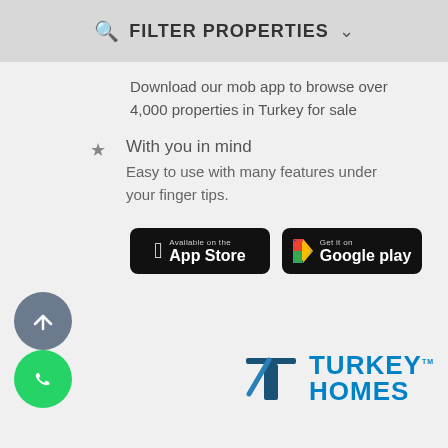FILTER PROPERTIES
Download our mob app to browse over 4,000 properties in Turkey for sale
With you in mind
Easy to use with many features under your finger tips.
[Figure (logo): App Store badge - Available on the App Store]
[Figure (logo): Google Play badge - Get it on Google play]
[Figure (logo): Turkey Homes logo with blue T-shaped icon and text TURKEY HOMES]
[Figure (other): Gray circle button with upward arrow]
[Figure (other): Green circle button with WhatsApp icon]